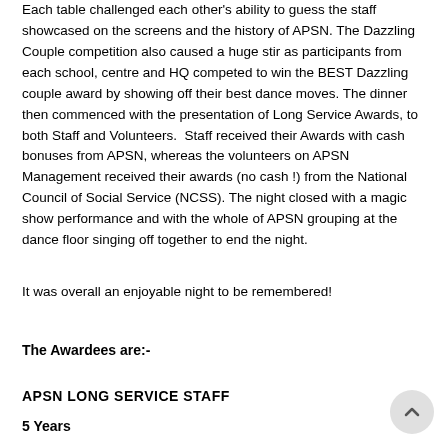Each table challenged each other's ability to guess the staff showcased on the screens and the history of APSN. The Dazzling Couple competition also caused a huge stir as participants from each school, centre and HQ competed to win the BEST Dazzling couple award by showing off their best dance moves. The dinner then commenced with the presentation of Long Service Awards, to both Staff and Volunteers.  Staff received their Awards with cash bonuses from APSN, whereas the volunteers on APSN Management received their awards (no cash !) from the National Council of Social Service (NCSS). The night closed with a magic show performance and with the whole of APSN grouping at the dance floor singing off together to end the night.
It was overall an enjoyable night to be remembered!
The Awardees are:-
APSN LONG SERVICE STAFF
5 Years